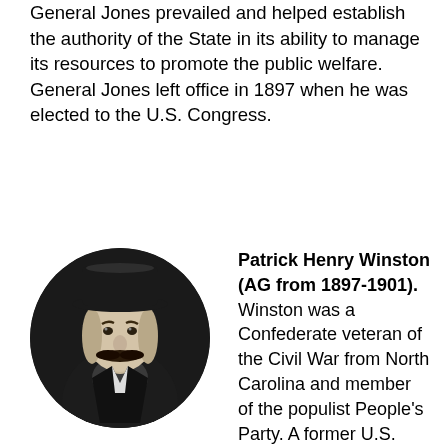General Jones prevailed and helped establish the authority of the State in its ability to manage its resources to promote the public welfare. General Jones left office in 1897 when he was elected to the U.S. Congress.
[Figure (photo): Black and white circular portrait photograph of Patrick Henry Winston, a man wearing a hat and dark suit with a mustache.]
Patrick Henry Winston (AG from 1897-1901). Winston was a Confederate veteran of the Civil War from North Carolina and member of the populist People's Party. A former U.S. Attorney for Washington for prior to his election, General Winston was so exhausted by his campaign for Attorney General that his health was permanently damaged. He remained ill throughout most of his tenure, and left office after only one term.